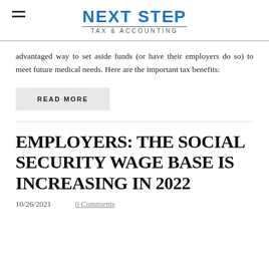NEXT STEP TAX & ACCOUNTING
advantaged way to set aside funds (or have their employers do so) to meet future medical needs. Here are the important tax benefits:
READ MORE
EMPLOYERS: THE SOCIAL SECURITY WAGE BASE IS INCREASING IN 2022
10/26/2021    0 Comments